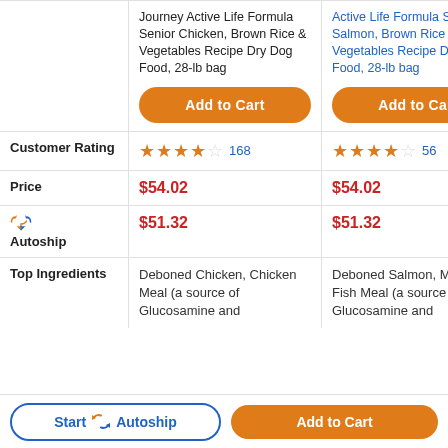|  | Product 1 | Product 2 | Product 3 (partial) |
| --- | --- | --- | --- |
|  | Journey Active Life Formula Senior Chicken, Brown Rice & Vegetables Recipe Dry Dog Food, 28-lb bag [Add to Cart] | Active Life Formula Senior Salmon, Brown Rice & Vegetables Recipe Dry Dog Food, 28-lb bag [Add to Cart] | ... |
| Customer Rating | 4 stars, 168 reviews | 4 stars, 56 reviews | 1... |
| Price | $54.02 | $54.02 | $ |
| Autoship | $51.32 | $51.32 | $ |
| Top Ingredients | Deboned Chicken, Chicken Meal (a source of Glucosamine and | Deboned Salmon, Menhaden Fish Meal (a source of Glucosamine and | C... B... V... |
Start Autoship | Add to Cart